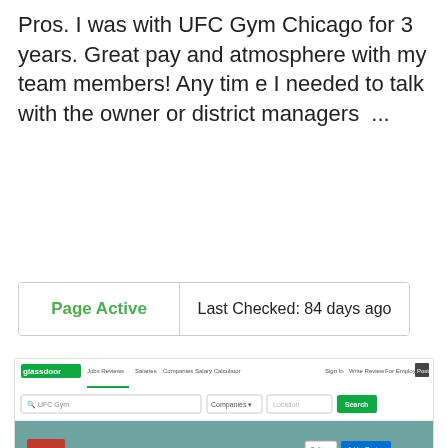Pros. I was with UFC Gym Chicago for 3 years. Great pay and atmosphere with my team members! Any time I needed to talk with the owner or district managers &nbsp;...
Page Active   Last Checked: 84 days ago
[Figure (screenshot): Screenshot of Glassdoor website showing UFC Gym company page with reviews, ratings, jobs, salaries, interviews, benefits, photos sections. Shows 'UFC Gym Reviews' section with rating 3.1, 'Recommend to a Friend' and 'Approve of CEO' donut charts. Also shows a Glassdoor ad for 'Hiring? Find the right fit. Learn More'.]